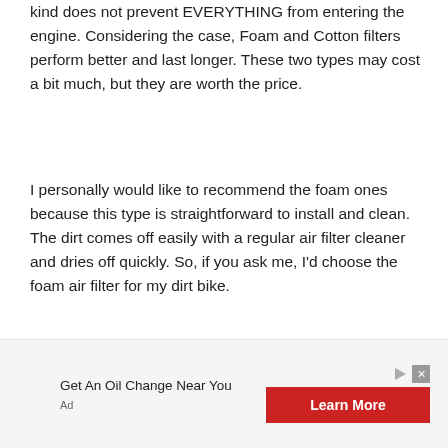kind does not prevent EVERYTHING from entering the engine. Considering the case, Foam and Cotton filters perform better and last longer. These two types may cost a bit much, but they are worth the price.
I personally would like to recommend the foam ones because this type is straightforward to install and clean. The dirt comes off easily with a regular air filter cleaner and dries off quickly. So, if you ask me, I'd choose the foam air filter for my dirt bike.
Get An Oil Change Near You
Ad